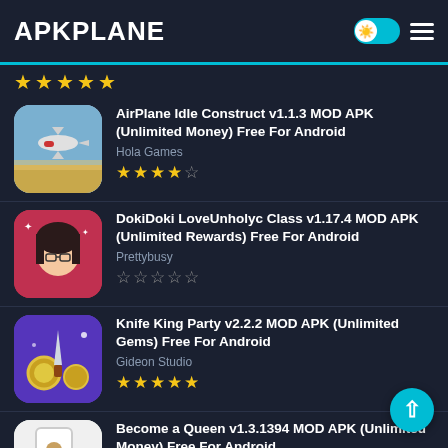APKPLANE
AirPlane Idle Construct v1.1.3 MOD APK (Unlimited Money) Free For Android
DokiDoki LoveUnholyc Class v1.17.4 MOD APK (Unlimited Rewards) Free For Android
Knife King Party v2.2.2 MOD APK (Unlimited Gems) Free For Android
Become a Queen v1.3.1394 MOD APK (Unlimited Money) Free For Android